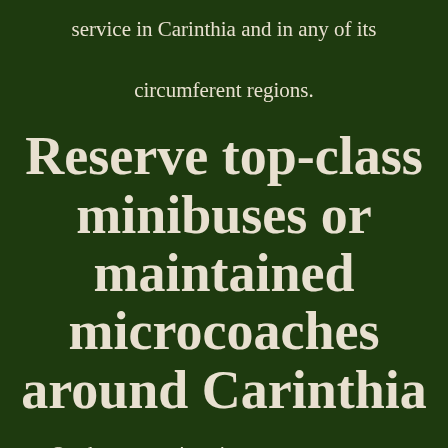service in Carinthia and in any of its circumferent regions.
Reserve top-class minibuses or maintained microcoaches around Carinthia
Our bureau can't wait to propose custom-